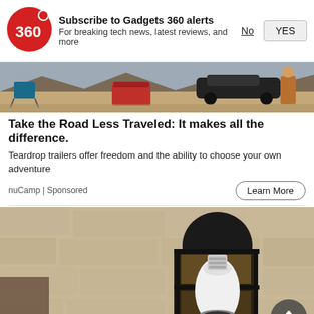[Figure (logo): Gadgets 360 red circular logo with '360' text]
Subscribe to Gadgets 360 alerts
For breaking tech news, latest reviews, and more
No
YES
[Figure (photo): Outdoor camping scene with teardrop trailer, car, cooler, chairs in desert landscape]
Take the Road Less Traveled: It makes all the difference.
Teardrop trailers offer freedom and the ability to choose your own adventure
nuCamp | Sponsored
Learn More
[Figure (photo): Outdoor wall-mounted lantern light fixture with a smart bulb/camera installed, on a textured stone wall]